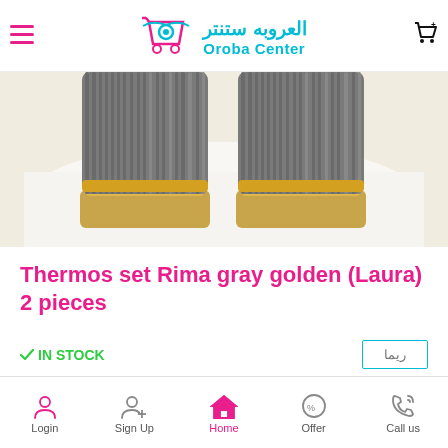[Figure (logo): Oroba Center logo with shopping cart icon, Arabic text العروبه ستنتر and English text Oroba Center in cyan/teal color]
[Figure (photo): Two gray and gold thermos containers placed on white fabric background]
Thermos set Rima gray golden (Laura) 2 pieces
IN STOCK
[Figure (other): Rima brand badge with Arabic text ريما in teal border box]
Login | Sign Up | Home | Offer | Call us